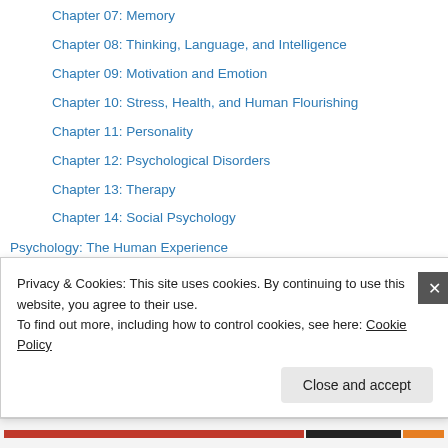Chapter 07: Memory
Chapter 08: Thinking, Language, and Intelligence
Chapter 09: Motivation and Emotion
Chapter 10: Stress, Health, and Human Flourishing
Chapter 11: Personality
Chapter 12: Psychological Disorders
Chapter 13: Therapy
Chapter 14: Social Psychology
Psychology: The Human Experience
01 – Why Study Psychology?
02 – Research Methods in Psychology
03 – The Nervous System
04 – The Neuron & Neural Transmission
Privacy & Cookies: This site uses cookies. By continuing to use this website, you agree to their use. To find out more, including how to control cookies, see here: Cookie Policy